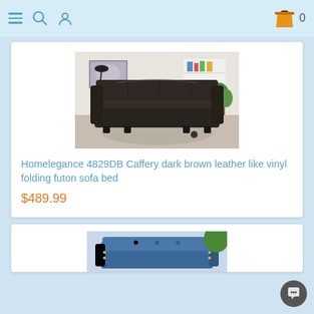Navigation bar with menu, search, user icons and shopping cart (0 items)
[Figure (photo): Dark brown leather-like vinyl folding futon sofa bed in a modern living room setting]
Homelegance 4829DB Caffery dark brown leather like vinyl folding futon sofa bed
$489.99
[Figure (photo): Partial view of a blue upholstered sofa or chair]